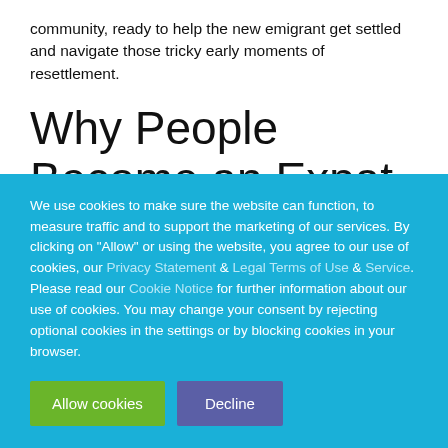community, ready to help the new emigrant get settled and navigate those tricky early moments of resettlement.
Why People Become an Expat in China?
We use cookies to make sure the website can function, to measure traffic and to support the marketing of our services. By clicking on "Allow" or using the website, you agree to our use of cookies, our Privacy Statement & Legal Terms of Use & Service. Please read our Cookie Notice for further information about our use of cookies. You may change your consent by rejecting optional cookies in the settings or by blocking cookies in your browser.